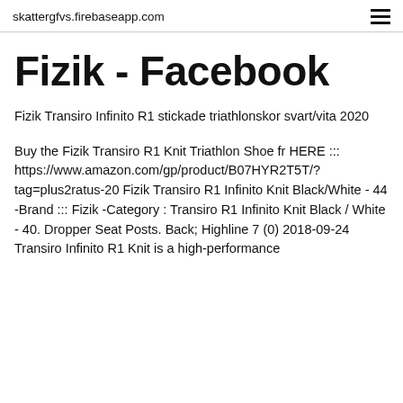skattergfvs.firebaseapp.com
Fizik - Facebook
Fizik Transiro Infinito R1 stickade triathlonskor svart/vita 2020
Buy the Fizik Transiro R1 Knit Triathlon Shoe fr HERE ::: https://www.amazon.com/gp/product/B07HYR2T5T/?tag=plus2ratus-20 Fizik Transiro R1 Infinito Knit Black/White - 44 -Brand ::: Fizik -Category : Transiro R1 Infinito Knit Black / White - 40. Dropper Seat Posts. Back; Highline 7 (0) 2018-09-24 Transiro Infinito R1 Knit is a high-performance